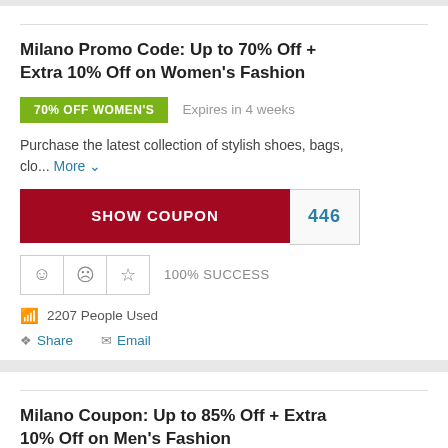Milano Promo Code: Up to 70% Off + Extra 10% Off on Women's Fashion
70% OFF WOMEN'S   Expires in 4 weeks
Purchase the latest collection of stylish shoes, bags, clo... More
SHOW COUPON  446
100% SUCCESS
2207 People Used
Share   Email
Milano Coupon: Up to 85% Off + Extra 10% Off on Men's Fashion
85% OFF MEN'S   Expires in 4 weeks